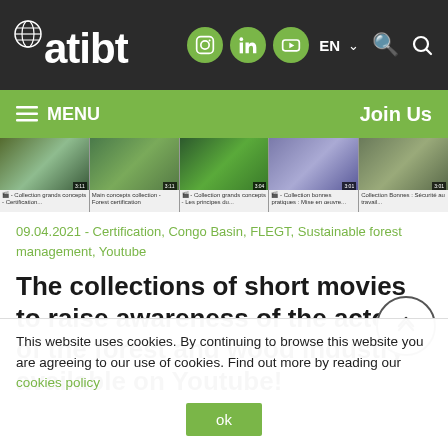[Figure (logo): atibt logo with globe icon on dark background]
atibt website header with navigation icons (Instagram, LinkedIn, YouTube), EN language selector, and search icon
[Figure (screenshot): Navigation bar with green background showing MENU and Join Us buttons]
[Figure (screenshot): Row of 5 video thumbnails showing forest/certification related short movies]
09.04.2021 - Certification, Congo Basin, FLEGT, Sustainable forest management, Youtube
The collections of short movies to raise awareness of the actors of the forest and wood industry available on Youtube!
This website uses cookies. By continuing to browse this website you are agreeing to our use of cookies. Find out more by reading our cookies policy
ok